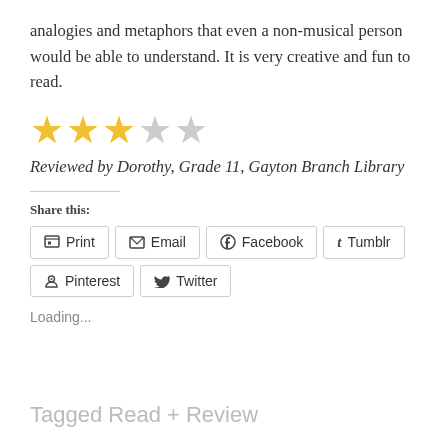analogies and metaphors that even a non-musical person would be able to understand. It is very creative and fun to read.
[Figure (other): 3 out of 5 stars rating: three filled gold stars and two empty outline stars]
Reviewed by Dorothy, Grade 11, Gayton Branch Library
Share this:
Print
Email
Facebook
Tumblr
Pinterest
Twitter
Loading...
Tagged Read + Review